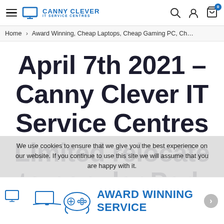Canny Clever IT Service Centres — navigation bar with logo, search, account, cart icons
Home › Award Winning, Cheap Laptops, Cheap Gaming PC, Ch…
April 7th 2021 – Canny Clever IT Service Centres Limited relocate to popular Park View, Whitley Bay.
We use cookies to ensure that we give you the best experience on our website. If you continue to use this site we will assume that you are happy with it.
[Figure (illustration): Bottom banner with computer, laptop, gamepad icons and 'Award Winning Service' text in blue]